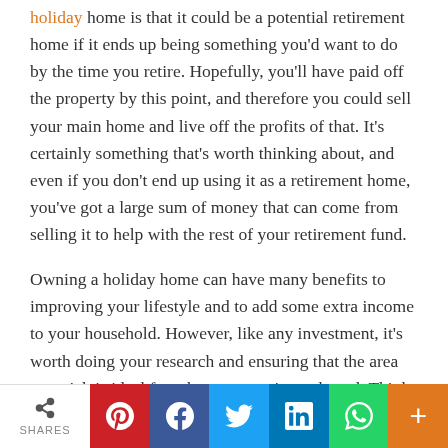holiday home is that it could be a potential retirement home if it ends up being something you'd want to do by the time you retire. Hopefully, you'll have paid off the property by this point, and therefore you could sell your main home and live off the profits of that. It's certainly something that's worth thinking about, and even if you don't end up using it as a retirement home, you've got a large sum of money that can come from selling it to help with the rest of your retirement fund.
Owning a holiday home can have many benefits to improving your lifestyle and to add some extra income to your household. However, like any investment, it's worth doing your research and ensuring that the area you pick is ideal for what you require and need. Think about how easy or difficult it would be to rent out if
[Figure (infographic): Social sharing bar with share count and buttons: Pinterest (red), Facebook (blue), Twitter (light blue), LinkedIn (dark blue), WhatsApp (green), More (orange)]